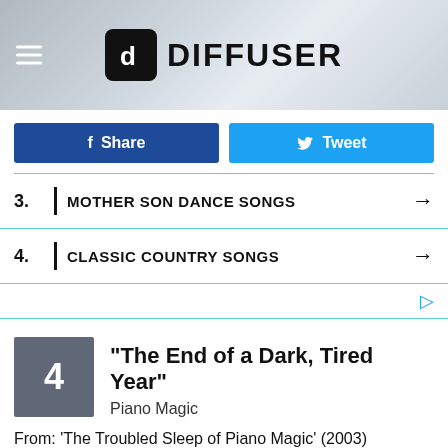[Figure (screenshot): Diffuser website header banner with logo, hamburger menu icon, and decorative background]
Share button (Facebook)
Tweet button (Twitter)
3. MOTHER SON DANCE SONGS
4. CLASSIC COUNTRY SONGS
4 "The End of a Dark, Tired Year" Piano Magic
From: ‘The Troubled Sleep of Piano Magic’ (2003)
We admit this one is a bit too gloomy and depressing for a